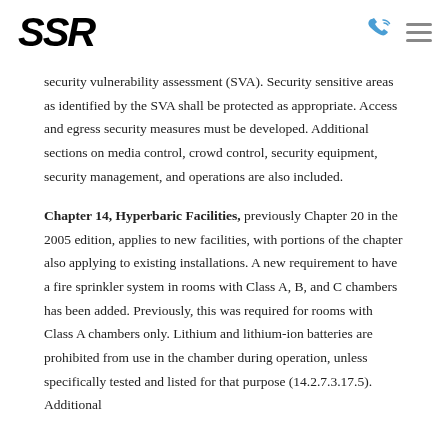SSR
security vulnerability assessment (SVA). Security sensitive areas as identified by the SVA shall be protected as appropriate. Access and egress security measures must be developed. Additional sections on media control, crowd control, security equipment, security management, and operations are also included.
Chapter 14, Hyperbaric Facilities, previously Chapter 20 in the 2005 edition, applies to new facilities, with portions of the chapter also applying to existing installations. A new requirement to have a fire sprinkler system in rooms with Class A, B, and C chambers has been added. Previously, this was required for rooms with Class A chambers only. Lithium and lithium-ion batteries are prohibited from use in the chamber during operation, unless specifically tested and listed for that purpose (14.2.7.3.17.5). Additional